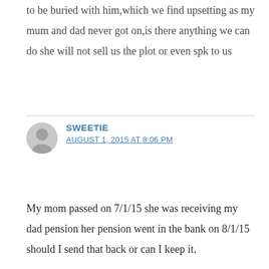to be buried with him,which we find upsetting as my mum and dad never got on,is there anything we can do she will not sell us the plot or even spk to us
SWEETIE
AUGUST 1, 2015 AT 8:06 PM
My mom passed on 7/1/15 she was receiving my dad pension her pension went in the bank on 8/1/15 should I send that back or can I keep it.